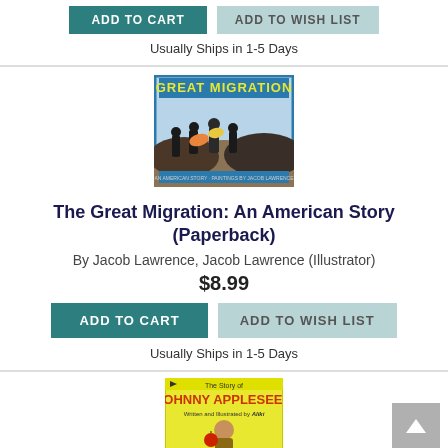Usually Ships in 1-5 Days
[Figure (illustration): Book cover of 'The Great Migration: An American Story' with yellow title text on blue-bordered cover, showing silhouettes of people migrating with birds overhead, painted by Jacob Lawrence]
The Great Migration: An American Story (Paperback)
By Jacob Lawrence, Jacob Lawrence (Illustrator)
$8.99
ADD TO CART
ADD TO WISH LIST
Usually Ships in 1-5 Days
[Figure (illustration): Partial book cover of 'The Story of Johnny Appleseed' with yellow cover, written and illustrated by Aliki, showing a person holding an apple]